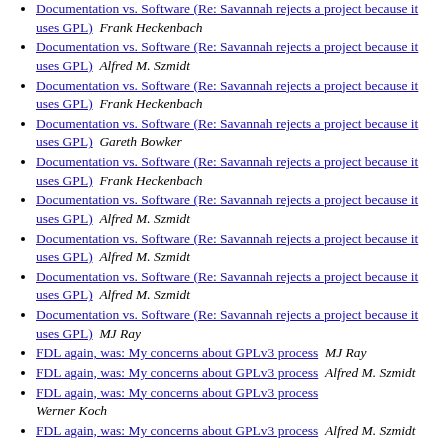Documentation vs. Software (Re: Savannah rejects a project because it uses GPL)  Frank Heckenbach
Documentation vs. Software (Re: Savannah rejects a project because it uses GPL)  Alfred M. Szmidt
Documentation vs. Software (Re: Savannah rejects a project because it uses GPL)  Frank Heckenbach
Documentation vs. Software (Re: Savannah rejects a project because it uses GPL)  Gareth Bowker
Documentation vs. Software (Re: Savannah rejects a project because it uses GPL)  Frank Heckenbach
Documentation vs. Software (Re: Savannah rejects a project because it uses GPL)  Alfred M. Szmidt
Documentation vs. Software (Re: Savannah rejects a project because it uses GPL)  Alfred M. Szmidt
Documentation vs. Software (Re: Savannah rejects a project because it uses GPL)  Alfred M. Szmidt
Documentation vs. Software (Re: Savannah rejects a project because it uses GPL)  MJ Ray
FDL again, was: My concerns about GPLv3 process  MJ Ray
FDL again, was: My concerns about GPLv3 process  Alfred M. Szmidt
FDL again, was: My concerns about GPLv3 process  Werner Koch
FDL again, was: My concerns about GPLv3 process  Alfred M. Szmidt